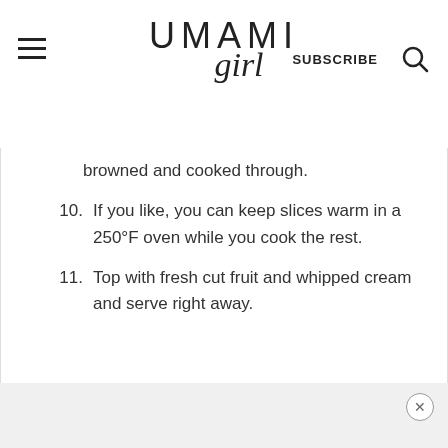UMAMI girl | SUBSCRIBE
browned and cooked through.
10. If you like, you can keep slices warm in a 250°F oven while you cook the rest.
11. Top with fresh cut fruit and whipped cream and serve right away.